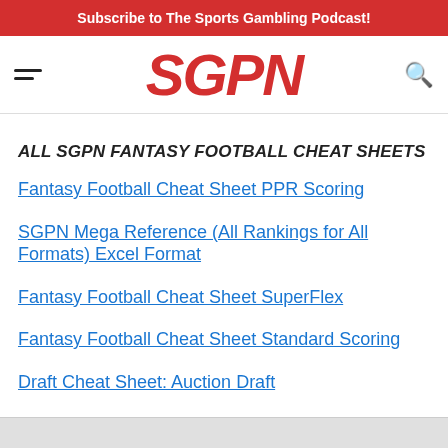Subscribe to The Sports Gambling Podcast!
[Figure (logo): SGPN logo in red italic bold text with hamburger menu on left and search icon on right]
ALL SGPN FANTASY FOOTBALL CHEAT SHEETS
Fantasy Football Cheat Sheet PPR Scoring
SGPN Mega Reference (All Rankings for All Formats) Excel Format
Fantasy Football Cheat Sheet SuperFlex
Fantasy Football Cheat Sheet Standard Scoring
Draft Cheat Sheet: Auction Draft